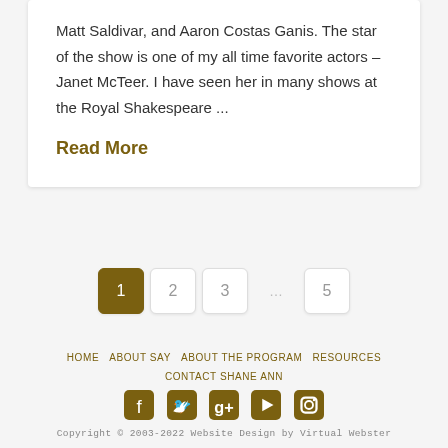Matt Saldivar, and Aaron Costas Ganis. The star of the show is one of my all time favorite actors – Janet McTeer. I have seen her in many shows at the Royal Shakespeare ...
Read More
1  2  3  …  5
HOME  ABOUT SAY  ABOUT THE PROGRAM  RESOURCES  CONTACT SHANE ANN
[Figure (other): Social media icons: Facebook, Twitter, Google+, YouTube, Instagram]
Copyright © 2003-2022 Website Design by Virtual Webster